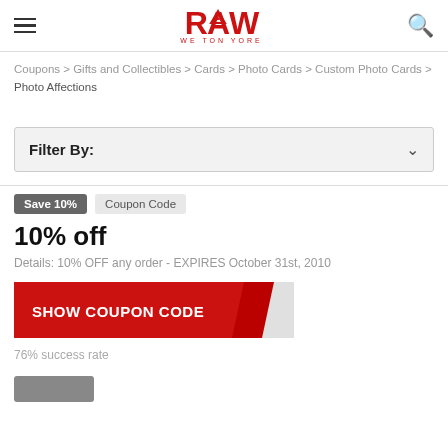[Figure (logo): RAW brand logo in red with tagline]
Coupons > Gifts and Collectibles > Cards > Photo Cards > Custom Photo Cards > Photo Affections
Filter By:
Save 10%   Coupon Code
10% off
Details: 10% OFF any order - EXPIRES October 31st, 2010
SHOW COUPON CODE
76% success rate